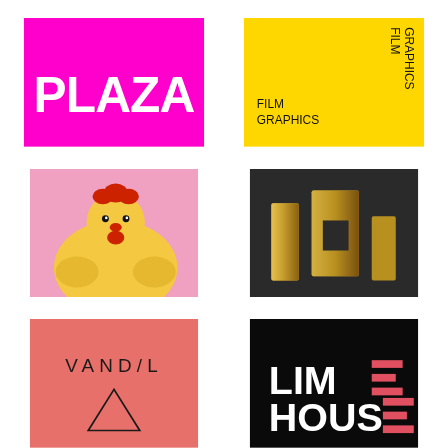[Figure (logo): PLAZA logo: white bold text on magenta/hot-pink background]
[Figure (logo): FILM GRAPHICS logo: black text rotated and normal on yellow background]
[Figure (illustration): Yellow cartoon chicken on pink background]
[Figure (photo): 3D gold metallic letter shapes on dark background]
[Figure (logo): VANDAL logo: black text and downward triangle on coral/salmon pink background]
[Figure (logo): LIMEHOUSE logo: white and pink text on black background]